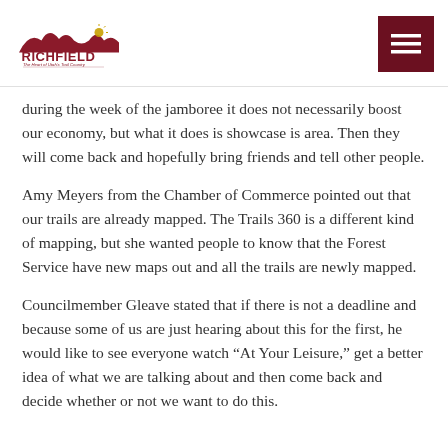Richfield — The Heart of Utah's Trail Country
during the week of the jamboree it does not necessarily boost our economy, but what it does is showcase is area. Then they will come back and hopefully bring friends and tell other people.
Amy Meyers from the Chamber of Commerce pointed out that our trails are already mapped. The Trails 360 is a different kind of mapping, but she wanted people to know that the Forest Service have new maps out and all the trails are newly mapped.
Councilmember Gleave stated that if there is not a deadline and because some of us are just hearing about this for the first, he would like to see everyone watch “At Your Leisure,” get a better idea of what we are talking about and then come back and decide whether or not we want to do this.